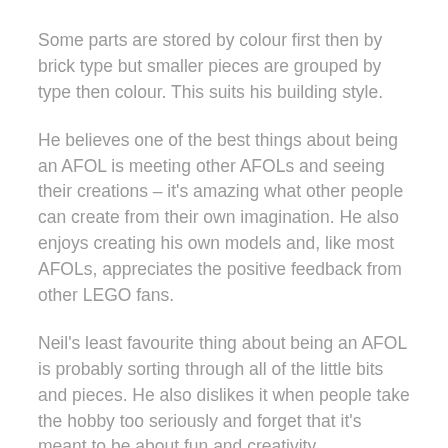Some parts are stored by colour first then by brick type but smaller pieces are grouped by type then colour. This suits his building style.
He believes one of the best things about being an AFOL is meeting other AFOLs and seeing their creations – it's amazing what other people can create from their own imagination. He also enjoys creating his own models and, like most AFOLs, appreciates the positive feedback from other LEGO fans.
Neil's least favourite thing about being an AFOL is probably sorting through all of the little bits and pieces. He also dislikes it when people take the hobby too seriously and forget that it's meant to be about fun and creativity.